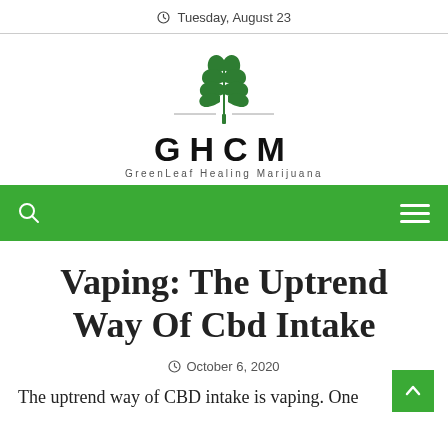Tuesday, August 23
[Figure (logo): GHCM GreenLeaf Healing Marijuana logo with cannabis leaf above the letters GHCM]
[Figure (other): Green navigation bar with search icon on left and hamburger menu on right]
Vaping: The Uptrend Way Of Cbd Intake
October 6, 2020
The uptrend way of CBD intake is vaping. One